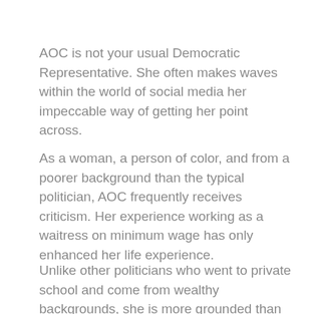AOC is not your usual Democratic Representative. She often makes waves within the world of social media her impeccable way of getting her point across.
As a woman, a person of color, and from a poorer background than the typical politician, AOC frequently receives criticism. Her experience working as a waitress on minimum wage has only enhanced her life experience.
Unlike other politicians who went to private school and come from wealthy backgrounds, she is more grounded than most.